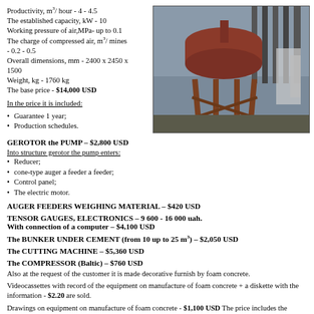Productivity, m³/ hour - 4 - 4.5
The established capacity, kW - 10
Working pressure of air,MPa- up to 0.1
The charge of compressed air, m³/ mines - 0.2 - 0.5
Overall dimensions, mm - 2400 x 2450 x 1500
Weight, kg - 1760 kg
The base price - $14,000 USD
[Figure (photo): Industrial equipment (pump/mixer) on metal frame stands, photographed outdoors near a building]
In the price it is included:
Guarantee 1 year;
Production schedules.
GEROTOR the PUMP – $2,800 USD
Into structure gerotor the pump enters:
Reducer;
cone-type auger a feeder a feeder;
Control panel;
The electric motor.
AUGER FEEDERS WEIGHING MATERIAL – $420 USD
TENSOR GAUGES, ELECTRONICS – 9 600 - 16 000 uah.
With connection of a computer – $4,100 USD
The BUNKER UNDER CEMENT (from 10 up to 25 m³) – $2,050 USD
The CUTTING MACHINE – $5,360 USD
The COMPRESSOR (Baltic) – $760 USD
Also at the request of the customer it is made decorative furnish by foam concrete.
Videocassettes with record of the equipment on manufacture of foam concrete + a diskette with the information - $2.20 are sold.
Drawings on equipment on manufacture of foam concrete - $1,100 USD The price includes the